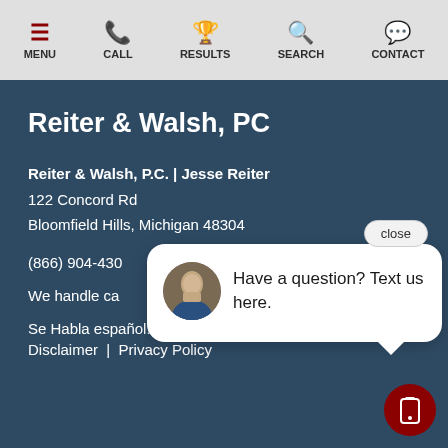MENU  CALL  RESULTS  SEARCH  CONTACT
Reiter & Walsh, PC
Reiter & Walsh, P.C. | Jesse Reiter
122 Concord Rd
Bloomfield Hills, Michigan 48304
(866) 904-430
We handle ca
Se Habla español!
Disclaimer  |  Privacy Policy
[Figure (screenshot): Chat popup with avatar photo of a man in suit, text 'Have a question? Text us here.' with close button and SMS button]